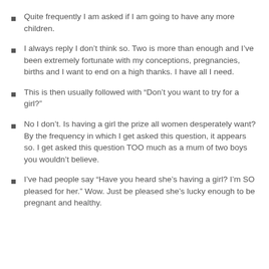Quite frequently I am asked if I am going to have any more children.
I always reply I don't think so. Two is more than enough and I've been extremely fortunate with my conceptions, pregnancies, births and I want to end on a high thanks. I have all I need.
This is then usually followed with “Don’t you want to try for a girl?”
No I don't. Is having a girl the prize all women desperately want? By the frequency in which I get asked this question, it appears so. I get asked this question TOO much as a mum of two boys you wouldn’t believe.
I’ve had people say “Have you heard she’s having a girl? I’m SO pleased for her.” Wow. Just be pleased she’s lucky enough to be pregnant and healthy.